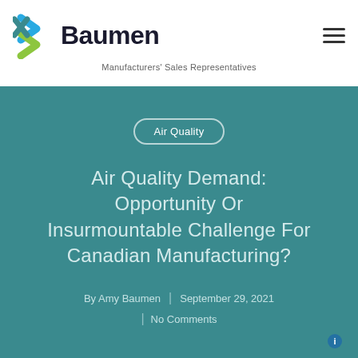[Figure (logo): Baumen logo with colorful arrow/chevron icon and text 'Baumen' with tagline 'Manufacturers' Sales Representatives']
Manufacturers' Sales Representatives
Air Quality
Air Quality Demand: Opportunity Or Insurmountable Challenge For Canadian Manufacturing?
By Amy Baumen  |  September 29, 2021
| No Comments